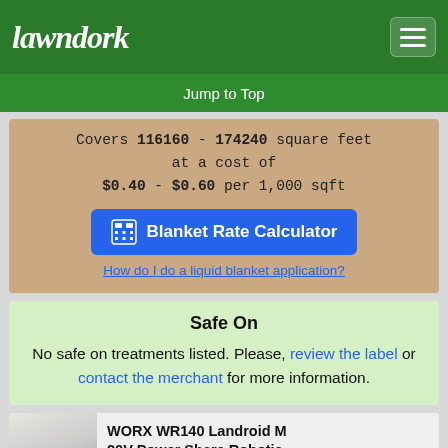lawndork
Jump to Top
Covers 116160 - 174240 square feet at a cost of $0.40 - $0.60 per 1,000 sqft
Blanket Rate Calculator
How do I do a liquid blanket application?
Safe On
No safe on treatments listed. Please, review the label or contact the merchant for more information.
WORX WR140 Landroid M 20V Power Share Robotic